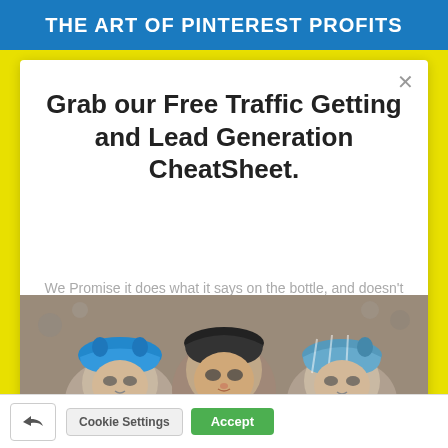THE ART OF PINTEREST PROFITS
Grab our Free Traffic Getting and Lead Generation CheatSheet.
We Promise it does what it says on the bottle, and doesn't bite :) Not much! Unless you hate cute kitties!
[Figure (photo): Three cats wearing knitted hats/hoods sitting together]
Cookie Settings  Accept